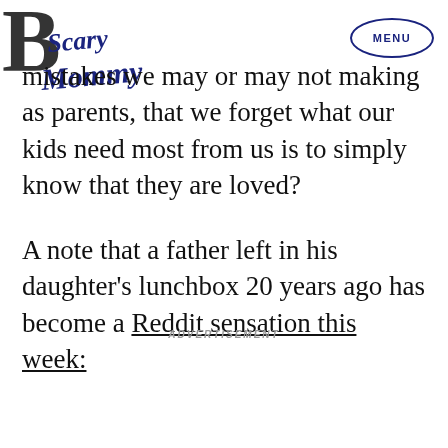[Figure (logo): Scary Mommy logo in dark navy blue script lettering]
mistakes we may or may not making as parents, that we forget what our kids need most from us is to simply know that they are loved?
A note that a father left in his daughter’s lunchbox 20 years ago has become a Reddit sensation this week:
ADVERTISEMENT